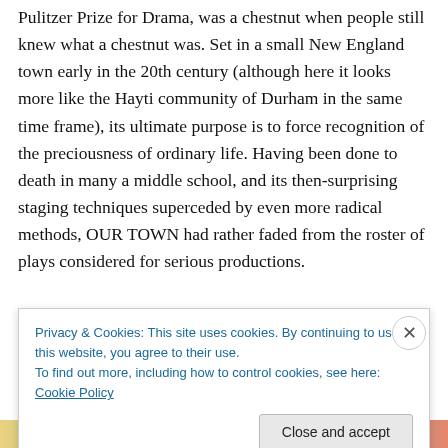Pulitzer Prize for Drama, was a chestnut when people still knew what a chestnut was. Set in a small New England town early in the 20th century (although here it looks more like the Hayti community of Durham in the same time frame), its ultimate purpose is to force recognition of the preciousness of ordinary life. Having been done to death in many a middle school, and its then-surprising staging techniques superceded by even more radical methods, OUR TOWN had rather faded from the roster of plays considered for serious productions.
O'Barski likes to have many things happening...
Privacy & Cookies: This site uses cookies. By continuing to use this website, you agree to their use.
To find out more, including how to control cookies, see here: Cookie Policy